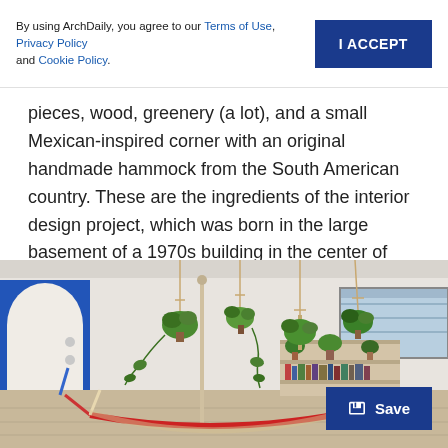By using ArchDaily, you agree to our Terms of Use, Privacy Policy and Cookie Policy. | I ACCEPT
pieces, wood, greenery (a lot), and a small Mexican-inspired corner with an original handmade hammock from the South American country. These are the ingredients of the interior design project, which was born in the large basement of a 1970s building in the center of Milan.
[Figure (photo): Interior room photo showing hanging plants suspended from ceiling with macramé hangers, a red hammock in foreground, a blue arched doorway on the left, a bookshelf with plants and books in the background, and a window with blinds on the right. A 'Save' button overlay appears bottom-right.]